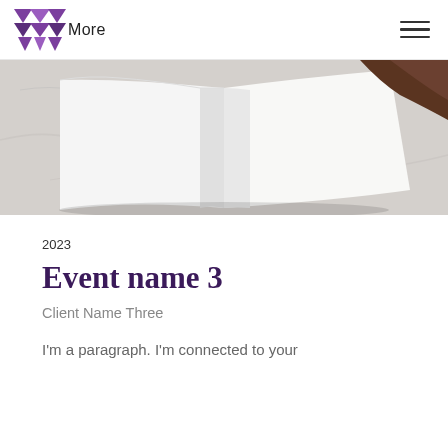More
[Figure (photo): Open blank white book/magazine lying flat on a light marble or stone surface, viewed from above at slight angle. A dark brown leather-covered book is partially visible in the top right corner.]
2023
Event name 3
Client Name Three
I'm a paragraph. I'm connected to your